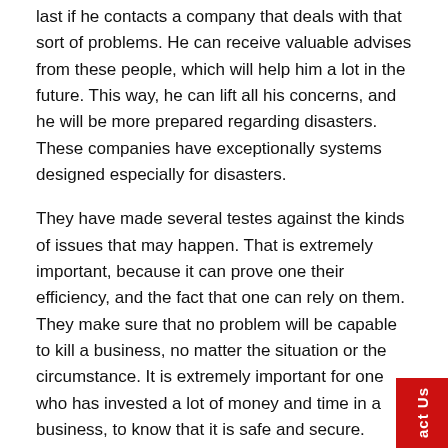last if he contacts a company that deals with that sort of problems. He can receive valuable advises from these people, which will help him a lot in the future. This way, he can lift all his concerns, and he will be more prepared regarding disasters. These companies have exceptionally systems designed especially for disasters.
They have made several testes against the kinds of issues that may happen. That is extremely important, because it can prove one their efficiency, and the fact that one can rely on them. They make sure that no problem will be capable to kill a business, no matter the situation or the circumstance. It is extremely important for one who has invested a lot of money and time in a business, to know that it is safe and secure.
The amount of time in which a company can recover after a disaster can be vital for it. If it takes several hours, it can lead to bankruptcy. One will surely get out of business if he does not have a solid disaster recovery plan. The best thing that a business man can do is to have by his side a partner that will deal with all the issues that will appear.